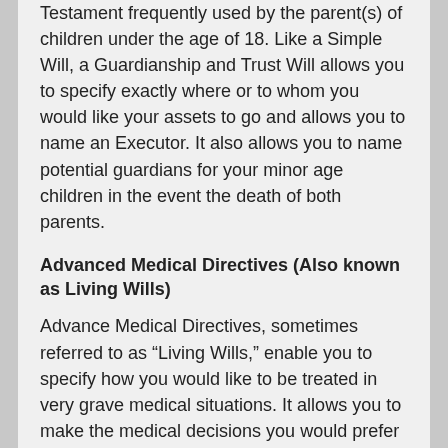Testament frequently used by the parent(s) of children under the age of 18. Like a Simple Will, a Guardianship and Trust Will allows you to specify exactly where or to whom you would like your assets to go and allows you to name an Executor. It also allows you to name potential guardians for your minor age children in the event the death of both parents.
Advanced Medical Directives (Also known as Living Wills)
Advance Medical Directives, sometimes referred to as “Living Wills,” enable you to specify how you would like to be treated in very grave medical situations. It allows you to make the medical decisions you would prefer while you are still capable of making them so that your family will have guidance as to your preferences should you be incapable of making these decisions in the future.
Powers of Attorney
A power of attorney can be one of the most important documents you sign. In essence, this document allows one